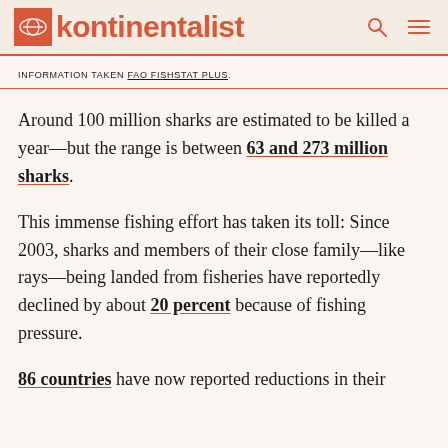kontinentalist
INFORMATION TAKEN FAO FISHSTAT PLUS.
Around 100 million sharks are estimated to be killed a year—but the range is between 63 and 273 million sharks.
This immense fishing effort has taken its toll: Since 2003, sharks and members of their close family—like rays—being landed from fisheries have reportedly declined by about 20 percent because of fishing pressure.
86 countries have now reported reductions in their